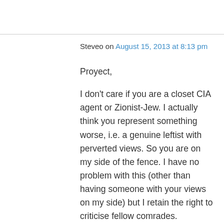Steveo on August 15, 2013 at 8:13 pm
Proyect,
I don't care if you are a closet CIA agent or Zionist-Jew. I actually think you represent something worse, i.e. a genuine leftist with perverted views. So you are on my side of the fence. I have no problem with this (other than having someone with your views on my side) but I retain the right to criticise fellow comrades.
Your post on Syria clearly amounts to propaganda, and should not be taken as an honest attempt to portray events. Your posts on Egypt prove the point, the contrast is startling.